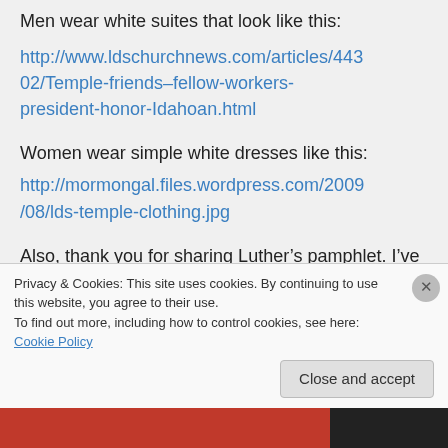Men wear white suites that look like this:
http://www.ldschurchnews.com/articles/44302/Temple-friends–fellow-workers-president-honor-Idahoan.html
Women wear simple white dresses like this:
http://mormongal.files.wordpress.com/2009/08/lds-temple-clothing.jpg
Also, thank you for sharing Luther's pamphlet. I've read it in the past…a long time ago when I was studying my
Privacy & Cookies: This site uses cookies. By continuing to use this website, you agree to their use.
To find out more, including how to control cookies, see here: Cookie Policy
Close and accept